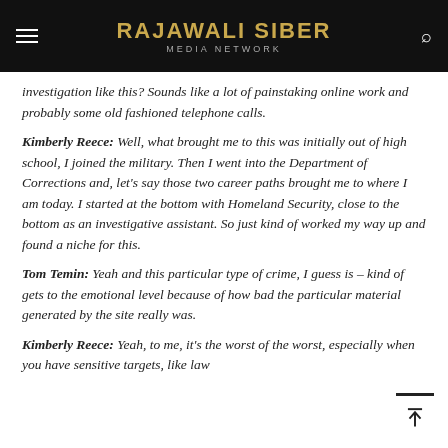RAJAWALI SIBER
MEDIA NETWORK
investigation like this? Sounds like a lot of painstaking online work and probably some old fashioned telephone calls.
Kimberly Reece: Well, what brought me to this was initially out of high school, I joined the military. Then I went into the Department of Corrections and, let's say those two career paths brought me to where I am today. I started at the bottom with Homeland Security, close to the bottom as an investigative assistant. So just kind of worked my way up and found a niche for this.
Tom Temin: Yeah and this particular type of crime, I guess is – kind of gets to the emotional level because of how bad the particular material generated by the site really was.
Kimberly Reece: Yeah, to me, it's the worst of the worst, especially when you have sensitive targets, like law